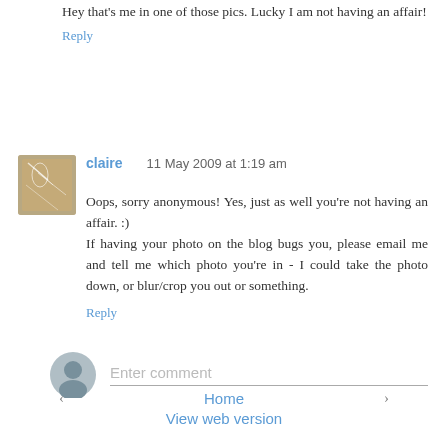Hey that’s me in one of those pics. Lucky I am not having an affair!
Reply
[Figure (photo): Avatar thumbnail of user claire - appears to show a hand with decorative henna or tattoo pattern]
claire     11 May 2009 at 1:19 am
Oops, sorry anonymous! Yes, just as well you're not having an affair. :)
If having your photo on the blog bugs you, please email me and tell me which photo you're in - I could take the photo down, or blur/crop you out or something.
Reply
Enter comment
‹   Home   ›
View web version